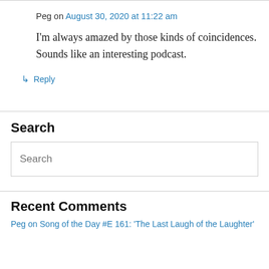Peg on August 30, 2020 at 11:22 am
I'm always amazed by those kinds of coincidences. Sounds like an interesting podcast.
↳ Reply
Search
Search
Recent Comments
Peg on Song of the Day #E 161: 'The Last Laugh of the Laughter'